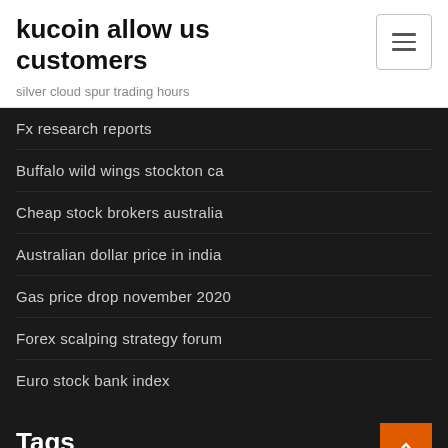kucoin allow us customers
silver cloud spur trading hours
Fx research reports
Buffalo wild wings stockton ca
Cheap stock brokers australia
Australian dollar price in india
Gas price drop november 2020
Forex scalping strategy forum
Euro stock bank index
Tags
Money management forex strategy